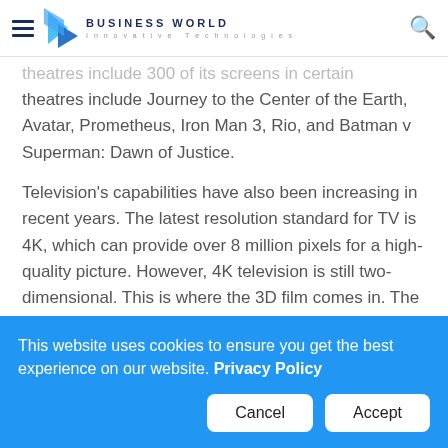Business World — Innovative Technologies
theatres include Journey to the Center of the Earth, Avatar, Prometheus, Iron Man 3, Rio, and Batman v Superman: Dawn of Justice.
Television's capabilities have also been increasing in recent years. The latest resolution standard for TV is 4K, which can provide over 8 million pixels for a high-quality picture. However, 4K television is still two-dimensional. This is where the 3D film comes in. The 3D film provides viewers with the visual illusion of depth perspective using special
This website uses cookies to ensure you get the best experience on our website. Privacy Policy